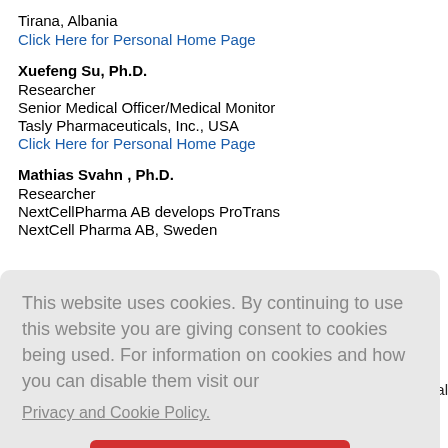Tirana, Albania
Click Here for Personal Home Page
Xuefeng Su, Ph.D.
Researcher
Senior Medical Officer/Medical Monitor
Tasly Pharmaceuticals, Inc., USA
Click Here for Personal Home Page
Mathias Svahn , Ph.D.
Researcher
NextCellPharma AB develops ProTrans
NextCell Pharma AB, Sweden
This website uses cookies. By continuing to use this website you are giving consent to cookies being used. For information on cookies and how you can disable them visit our
Privacy and Cookie Policy.
AGREE & PROCEED
ni Hospital
Instructor
Radiation Surgeon Researcher